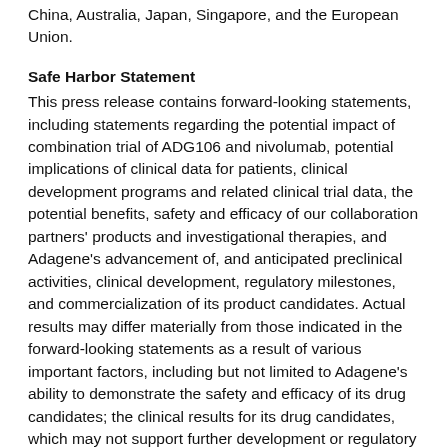China, Australia, Japan, Singapore, and the European Union.
Safe Harbor Statement
This press release contains forward-looking statements, including statements regarding the potential impact of combination trial of ADG106 and nivolumab, potential implications of clinical data for patients, clinical development programs and related clinical trial data, the potential benefits, safety and efficacy of our collaboration partners' products and investigational therapies, and Adagene's advancement of, and anticipated preclinical activities, clinical development, regulatory milestones, and commercialization of its product candidates. Actual results may differ materially from those indicated in the forward-looking statements as a result of various important factors, including but not limited to Adagene's ability to demonstrate the safety and efficacy of its drug candidates; the clinical results for its drug candidates, which may not support further development or regulatory